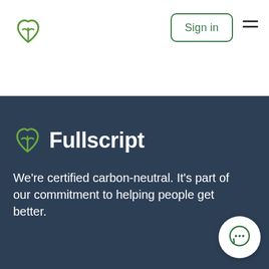[Figure (logo): Fullscript green leaf-heart logo in header]
Sign in
[Figure (logo): Fullscript green leaf-heart logo with brand name 'Fullscript' in footer]
We're certified carbon-neutral. It's part of our commitment to helping people get better.